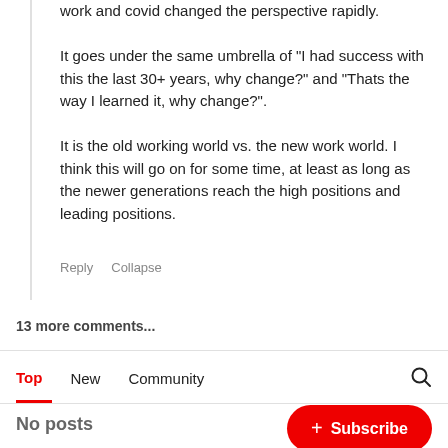work and covid changed the perspective rapidly.

It goes under the same umbrella of "I had success with this the last 30+ years, why change?" and "Thats the way I learned it, why change?".

It is the old working world vs. the new work world. I think this will go on for some time, at least as long as the newer generations reach the high positions and leading positions.
Reply   Collapse
13 more comments...
Top   New   Community
No posts
+ Subscribe